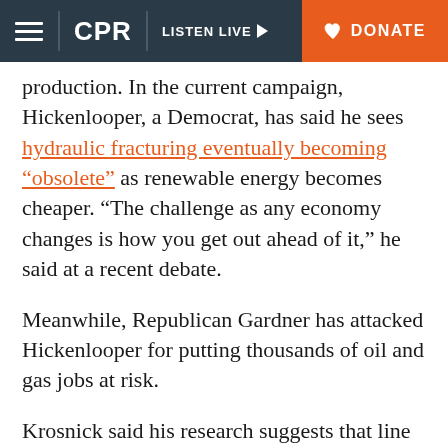CPR | LISTEN LIVE | DONATE
production. In the current campaign, Hickenlooper, a Democrat, has said he sees hydraulic fracturing eventually becoming “obsolete” as renewable energy becomes cheaper. “The challenge as any economy changes is how you get out ahead of it,” he said at a recent debate.
Meanwhile, Republican Gardner has attacked Hickenlooper for putting thousands of oil and gas jobs at risk.
Krosnick said his research suggests that line of attack might not resonate with voters.
“The overwhelming majority do not buy the claim that doing things about climate change will hurt the